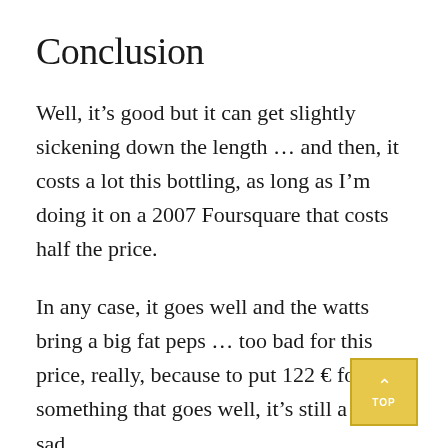Conclusion
Well, it’s good but it can get slightly sickening down the length … and then, it costs a lot this bottling, as long as I’m doing it on a 2007 Foursquare that costs half the price.
In any case, it goes well and the watts bring a big fat peps … too bad for this price, really, because to put 122 € for something that goes well, it’s still a bit sad.
Score